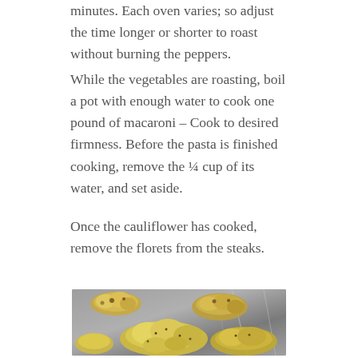minutes. Each oven varies; so adjust the time longer or shorter to roast without burning the peppers.
While the vegetables are roasting, boil a pot with enough water to cook one pound of macaroni – Cook to desired firmness. Before the pasta is finished cooking, remove the ¼ cup of its water, and set aside.
Once the cauliflower has cooked, remove the florets from the steaks.
[Figure (photo): Roasted cauliflower steaks on a foil-lined baking sheet, golden brown with seasoning]